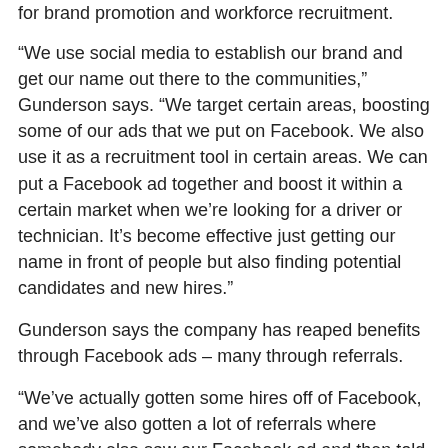for brand promotion and workforce recruitment.
“We use social media to establish our brand and get our name out there to the communities,” Gunderson says. “We target certain areas, boosting some of our ads that we put on Facebook. We also use it as a recruitment tool in certain areas. We can put a Facebook ad together and boost it within a certain market when we’re looking for a driver or technician. It’s become effective just getting our name in front of people but also finding potential candidates and new hires.”
Gunderson says the company has reaped benefits through Facebook ads – many through referrals.
“We’ve actually gotten some hires off of Facebook, and we’ve also gotten a lot of referrals where somebody else saw our Facebook ad and then told somebody directly to reach out to us,” he adds. “We didn’t get the hire directly through social media, but the ad was seen by somebody else who saw it and then referred the individual to us.”